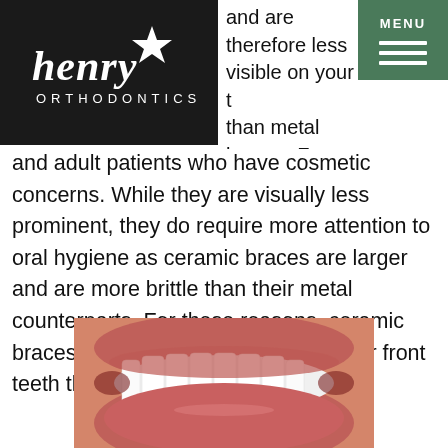Henry Orthodontics — MENU
and are therefore less visible on your teeth than metal braces. For this reason, ceramic braces are used mainly on older teenagers and adult patients who have cosmetic concerns. While they are visually less prominent, they do require more attention to oral hygiene as ceramic braces are larger and are more brittle than their metal counterparts. For these reasons, ceramic braces tend to be used more on upper front teeth than on lower teeth.
[Figure (photo): Close-up photo of a smiling mouth showing white upper teeth and pink lips]